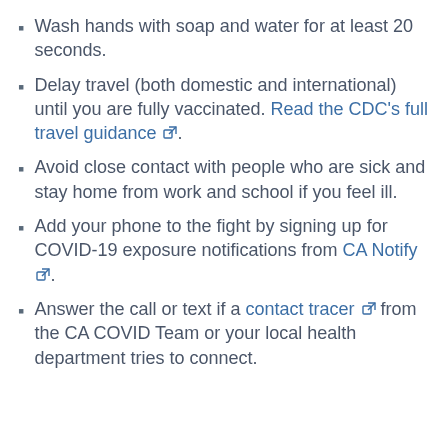Wash hands with soap and water for at least 20 seconds.
Delay travel (both domestic and international) until you are fully vaccinated. Read the CDC's full travel guidance [link].
Avoid close contact with people who are sick and stay home from work and school if you feel ill.
Add your phone to the fight by signing up for COVID-19 exposure notifications from CA Notify [link].
Answer the call or text if a contact tracer [link] from the CA COVID Team or your local health department tries to connect.